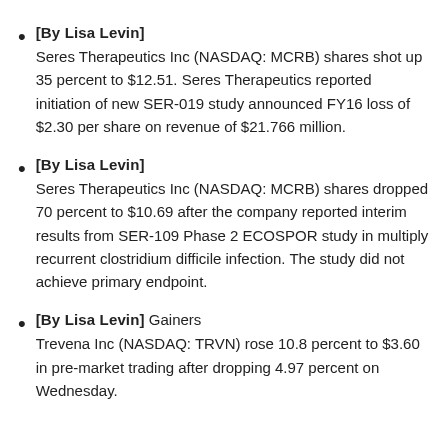[By Lisa Levin] Seres Therapeutics Inc (NASDAQ: MCRB) shares shot up 35 percent to $12.51. Seres Therapeutics reported initiation of new SER-019 study announced FY16 loss of $2.30 per share on revenue of $21.766 million.
[By Lisa Levin] Seres Therapeutics Inc (NASDAQ: MCRB) shares dropped 70 percent to $10.69 after the company reported interim results from SER-109 Phase 2 ECOSPOR study in multiply recurrent clostridium difficile infection. The study did not achieve primary endpoint.
[By Lisa Levin] Gainers Trevena Inc (NASDAQ: TRVN) rose 10.8 percent to $3.60 in pre-market trading after dropping 4.97 percent on Wednesday.